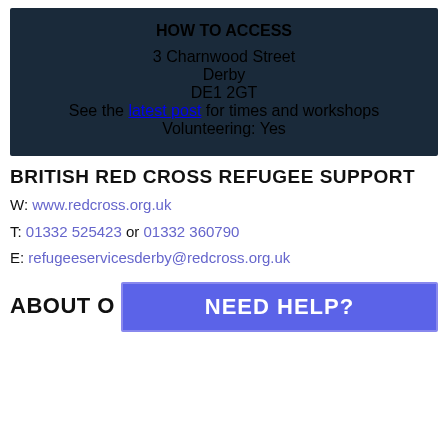HOW TO ACCESS
3 Charnwood Street
Derby
DE1 2GT

See the latest post for times and workshops

Volunteering: Yes
BRITISH RED CROSS REFUGEE SUPPORT
W: www.redcross.org.uk
T: 01332 525423 or 01332 360790
E: refugeeservicesderby@redcross.org.uk
ABOUT
NEED HELP?